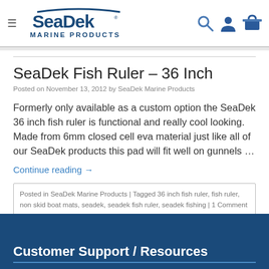[Figure (logo): SeaDek Marine Products logo with hamburger menu icon on the left and search, user, cart icons on the right]
SeaDek Fish Ruler – 36 Inch
Posted on November 13, 2012 by SeaDek Marine Products
Formerly only available as a custom option the SeaDek 36 inch fish ruler is functional and really cool looking. Made from 6mm closed cell eva material just like all of our SeaDek products this pad will fit well on gunnels …
Continue reading →
Posted in SeaDek Marine Products | Tagged 36 inch fish ruler, fish ruler, non skid boat mats, seadek, seadek fish ruler, seadek fishing | 1 Comment
Customer Support / Resources